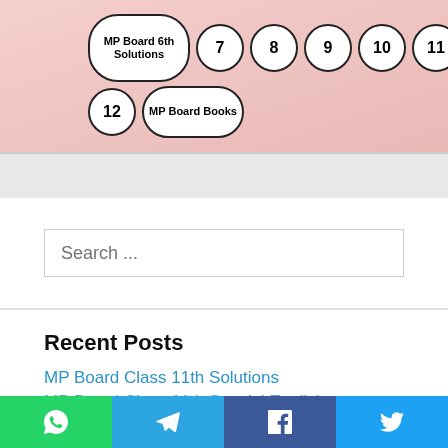[Figure (other): Navigation bar with oval/pill shaped buttons for MP Board 6th Solutions, 7, 8, 9, 10, 11, 12, MP Board Books on a pink background]
Search ...
Recent Posts
MP Board Class 11th Solutions
MP Board Class 11th Special English
[Figure (other): Social share buttons row: WhatsApp (green), Telegram (blue), Facebook (dark blue), Twitter (light blue)]